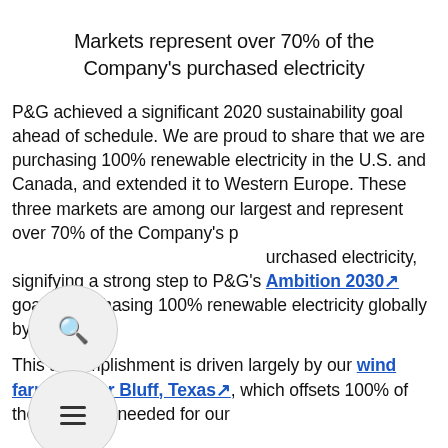Markets represent over 70% of the Company's purchased electricity
P&G achieved a significant 2020 sustainability goal ahead of schedule. We are proud to share that we are purchasing 100% renewable electricity in the U.S. and Canada, and extended it to Western Europe. These three markets are among our largest and represent over 70% of the Company's purchased electricity, signifying a strong step to P&G's Ambition 2030 goal of purchasing 100% renewable electricity globally by 2030.
This accomplishment is driven largely by our wind farm in Tyler Bluff, Texas, which offsets 100% of the electricity needed for our